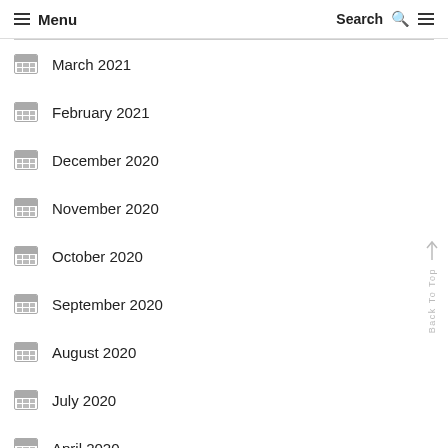Menu  Search
March 2021
February 2021
December 2020
November 2020
October 2020
September 2020
August 2020
July 2020
April 2020
March 2020